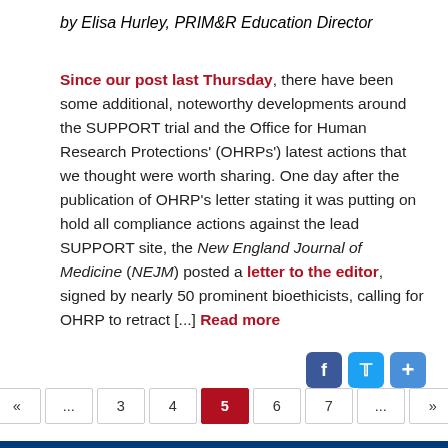by Elisa Hurley, PRIM&R Education Director
Since our post last Thursday, there have been some additional, noteworthy developments around the SUPPORT trial and the Office for Human Research Protections' (OHRPs') latest actions that we thought were worth sharing. One day after the publication of OHRP's letter stating it was putting on hold all compliance actions against the lead SUPPORT site, the New England Journal of Medicine (NEJM) posted a letter to the editor, signed by nearly 50 prominent bioethicists, calling for OHRP to retract [...] Read more
« First « ... 3 4 5 6 7 ... » Last »